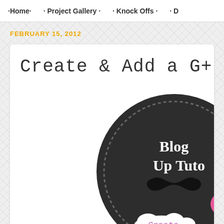·Home·   · Project Gallery ·   · Knock Offs ·   · D
FEBRUARY 15, 2012
Create & Add a G+ Icon
[Figure (illustration): Circular dark badge/button graphic with dashed ring border, text 'Blog Up Tuto' (partially visible), a mustache silhouette, a white cloud shape with pink cursive 'Create' text, and a pink circle badge element.]